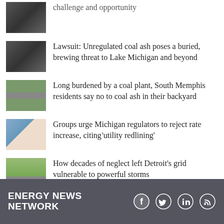challenge and opportunity
Lawsuit: Unregulated coal ash poses a buried, brewing threat to Lake Michigan and beyond
Long burdened by a coal plant, South Memphis residents say no to coal ash in their backyard
Groups urge Michigan regulators to reject rate increase, citing 'utility redlining'
How decades of neglect left Detroit's grid vulnerable to powerful storms
In pushing for Line 5 shutdown, Bad River Band points to alternative route
ENERGY NEWS NETWORK